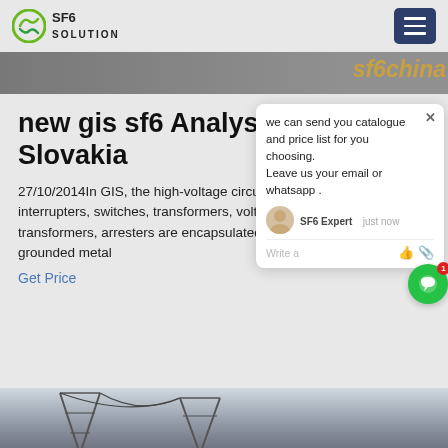[Figure (logo): SF6 Solution logo with green circular icon and text SF6 SOLUTION]
new gis sf6 Analysis in Slovakia
27/10/2014In GIS, the high-voltage circuit breaker interrupters, switches, transformers, voltage transformers, arresters are encapsulated in SF6 g... grounded metal
Get Price
[Figure (screenshot): Chat popup: we can send you catalogue and price list for you choosing. Leave us your email or whatsapp. SF6 Expert - just now. Write a message input.]
[Figure (photo): Bottom partial image of electrical transmission tower infrastructure against grey sky]